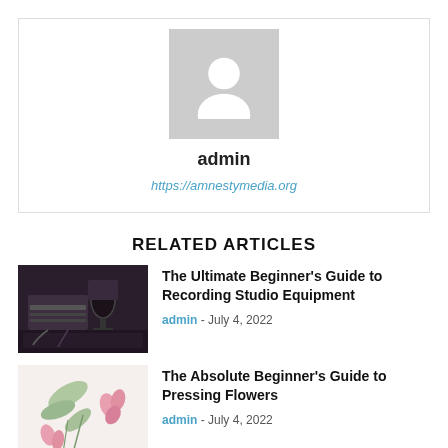[Figure (illustration): Default avatar placeholder with silhouette of a person on grey background]
admin
https://amnestymedia.org
RELATED ARTICLES
[Figure (photo): Dark photo of a recording studio with mixing console and microphone]
The Ultimate Beginner's Guide to Recording Studio Equipment
admin - July 4, 2022
[Figure (photo): Light photo showing pressed flowers on white paper with pink floral designs]
The Absolute Beginner's Guide to Pressing Flowers
admin - July 4, 2022